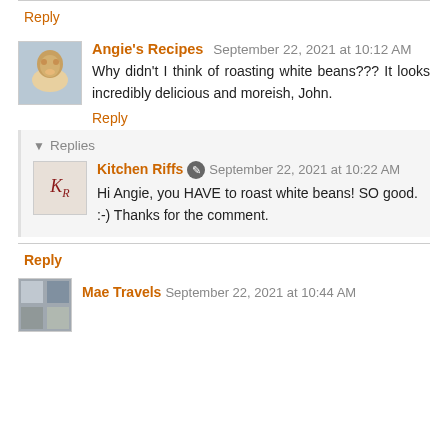Reply
Angie's Recipes  September 22, 2021 at 10:12 AM
Why didn't I think of roasting white beans??? It looks incredibly delicious and moreish, John.
Reply
Replies
Kitchen Riffs  September 22, 2021 at 10:22 AM
Hi Angie, you HAVE to roast white beans! SO good. :-) Thanks for the comment.
Reply
Mae Travels  September 22, 2021 at 10:44 AM